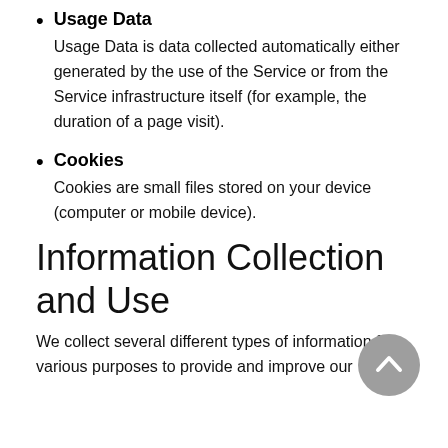Usage Data
Usage Data is data collected automatically either generated by the use of the Service or from the Service infrastructure itself (for example, the duration of a page visit).
Cookies
Cookies are small files stored on your device (computer or mobile device).
Information Collection and Use
We collect several different types of information for various purposes to provide and improve our